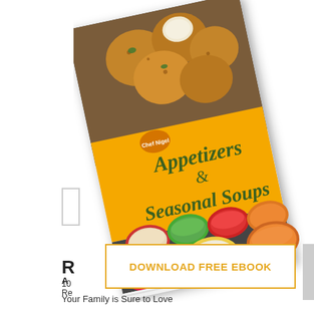[Figure (illustration): A tilted book cover for 'Appetizers & Seasonal Soups' by Chef Nigel T. Hinckson, published under the Chef Nigel brand. The cover shows fried arancini balls at the top and colorful bowls of soup below on a dark background, with a yellow/orange title banner.]
R
10
Re
Ho
Ch
A
Your Family is Sure to Love
[Figure (other): Download Free Ebook button with orange border and orange text on white background]